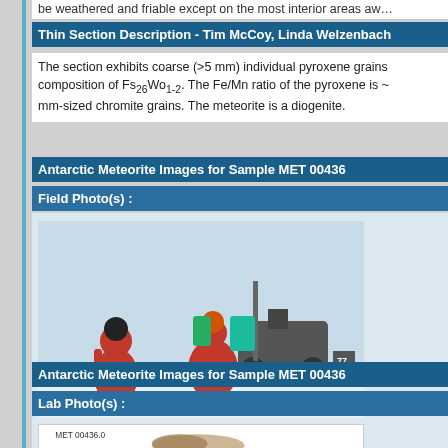be weathered and friable except on the most interior areas away…
Thin Section Description - Tim McCoy, Linda Welzenbach
The section exhibits coarse (>5 mm) individual pyroxene grains of composition of Fs₂₆Wo₁₋₂. The Fe/Mn ratio of the pyroxene is ~ mm-sized chromite grains. The meteorite is a diogenite.
Antarctic Meteorite Images for Sample MET 00436
Field Photo(s) :
[Figure (photo): Field photo showing researchers in red cold-weather gear crouching near scientific equipment and snowmobiles on Antarctic ice/snow.]
Field photo image(s) courtesy of the ANSMET (ANtarctic Sear… University of Utah
Antarctic Meteorite Images for Sample MET 00436
Lab Photo(s) :
[Figure (photo): Lab photo of meteorite sample MET 00436.0]